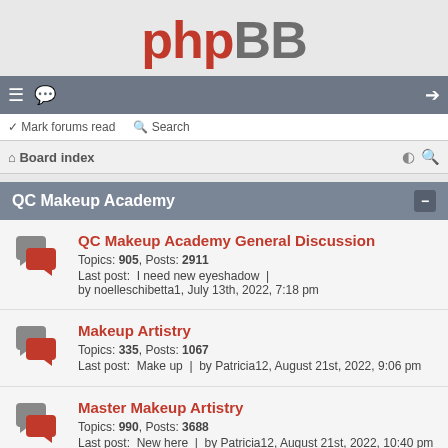[Figure (logo): phpBB logo text in red and gray]
Navigation bar with menu, chat icon, and login icon
Mark forums read | Search
Board index
QC Makeup Academy
QC Makeup Academy General Discussion
Topics: 905, Posts: 2911
Last post: I need new eyeshadow | by noelleschibetta1, July 13th, 2022, 7:18 pm
Makeup Artistry
Topics: 335, Posts: 1067
Last post: Make up | by Patricia12, August 21st, 2022, 9:06 pm
Master Makeup Artistry
Topics: 990, Posts: 3688
Last post: New here | by Patricia12, August 21st, 2022, 10:40 pm